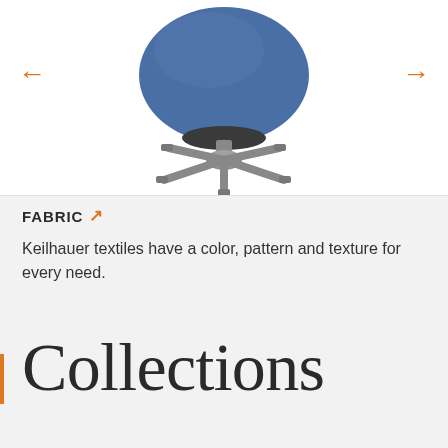[Figure (photo): Blue upholstered office chair with metallic five-star base, shown from front, with orange left and right navigation arrows on either side]
FABRIC ↗
Keilhauer textiles have a color, pattern and texture for every need.
Collections